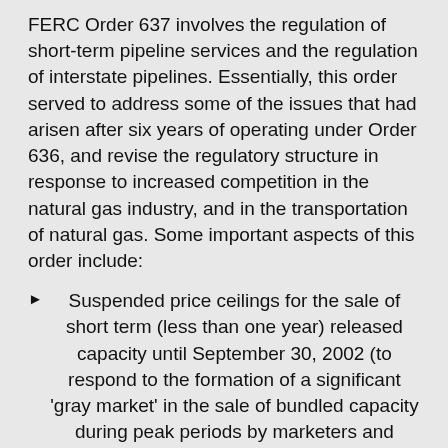FERC Order 637 involves the regulation of short-term pipeline services and the regulation of interstate pipelines. Essentially, this order served to address some of the issues that had arisen after six years of operating under Order 636, and revise the regulatory structure in response to increased competition in the natural gas industry, and in the transportation of natural gas. Some important aspects of this order include:
Suspended price ceilings for the sale of short term (less than one year) released capacity until September 30, 2002 (to respond to the formation of a significant 'gray market' in the sale of bundled capacity during peak periods by marketers and LDCs that essentially circumvented the ceilings set by Order 636)
Changes the regulations regarding scheduling